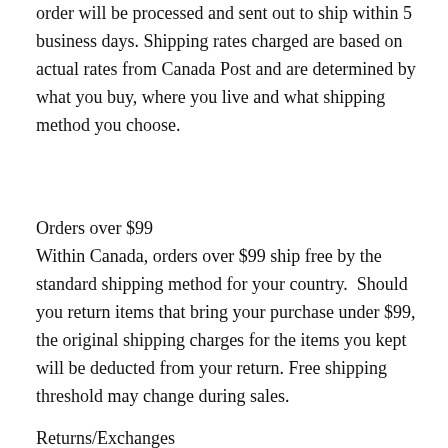order will be processed and sent out to ship within 5 business days. Shipping rates charged are based on actual rates from Canada Post and are determined by what you buy, where you live and what shipping method you choose.
Orders over $99
Within Canada, orders over $99 ship free by the standard shipping method for your country.  Should you return items that bring your purchase under $99, the original shipping charges for the items you kept will be deducted from your return. Free shipping threshold may change during sales.
Returns/Exchanges
Shipping is not refundable on returns or exchanges. Please do not return items by writing “Return to Sender” on the package – shipping costs for the return postage will be deducted from your return/exchange.